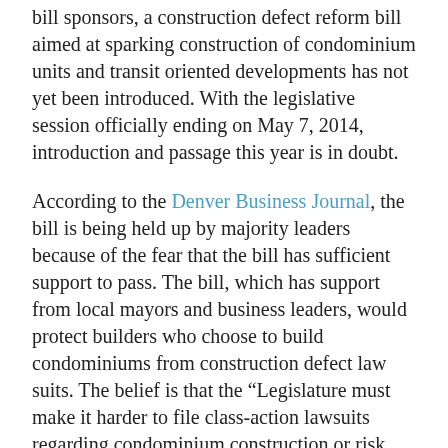bill sponsors, a construction defect reform bill aimed at sparking construction of condominium units and transit oriented developments has not yet been introduced.  With the legislative session officially ending on May 7, 2014, introduction and passage this year is in doubt.
According to the Denver Business Journal, the bill is being held up by majority leaders because of the fear that the bill has sufficient support to pass.  The bill, which has support from local mayors and business leaders, would protect builders who choose to build condominiums from construction defect law suits.   The belief is that the “Legislature must make it harder to file class-action lawsuits regarding condominium construction or risk losing that segment of the market completely— and trial lawyers and homeowners groups who say that limitations on homeowners’ rights won’t revive this form of affordable housing” (Denver Business Journal April 30, 2014).    These statements are based largely on a report completed by an